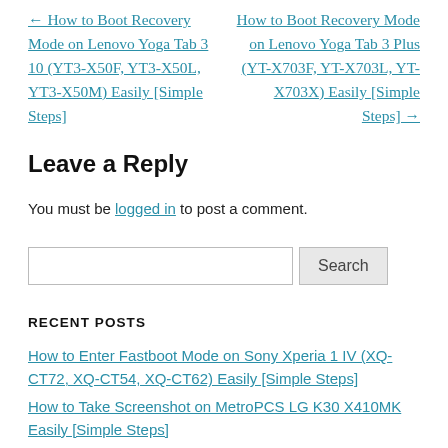← How to Boot Recovery Mode on Lenovo Yoga Tab 3 10 (YT3-X50F, YT3-X50L, YT3-X50M) Easily [Simple Steps]
How to Boot Recovery Mode on Lenovo Yoga Tab 3 Plus (YT-X703F, YT-X703L, YT-X703X) Easily [Simple Steps] →
Leave a Reply
You must be logged in to post a comment.
Search
RECENT POSTS
How to Enter Fastboot Mode on Sony Xperia 1 IV (XQ-CT72, XQ-CT54, XQ-CT62) Easily [Simple Steps]
How to Take Screenshot on MetroPCS LG K30 X410MK Easily [Simple Steps]